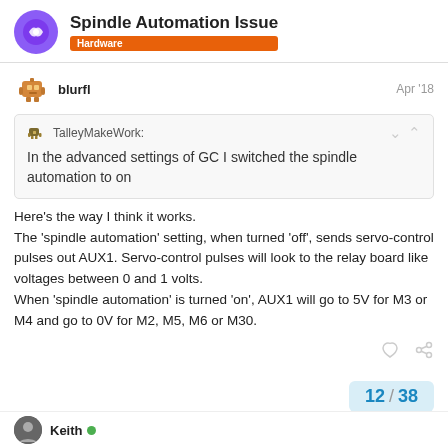Spindle Automation Issue · Hardware
blurfl · Apr '18
TalleyMakeWork: In the advanced settings of GC I switched the spindle automation to on
Here's the way I think it works.
The 'spindle automation' setting, when turned 'off', sends servo-control pulses out AUX1. Servo-control pulses will look to the relay board like voltages between 0 and 1 volts.
When 'spindle automation' is turned 'on', AUX1 will go to 5V for M3 or M4 and go to 0V for M2, M5, M6 or M30.
12 / 38
Keith